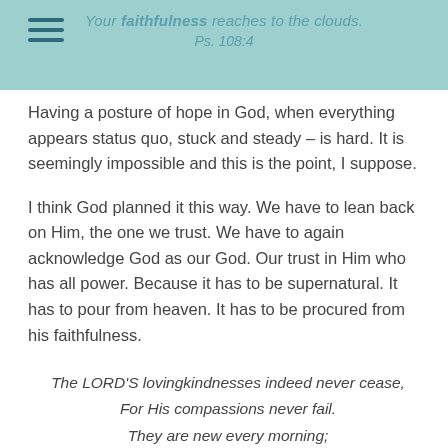Your faithfulness reaches to the clouds. Ps. 108:4
Having a posture of hope in God, when everything appears status quo, stuck and steady – is hard. It is seemingly impossible and this is the point, I suppose.
I think God planned it this way. We have to lean back on Him, the one we trust. We have to again acknowledge God as our God. Our trust in Him who has all power. Because it has to be supernatural. It has to pour from heaven. It has to be procured from his faithfulness.
The LORD'S lovingkindnesses indeed never cease, For His compassions never fail. They are new every morning; Great is Your faithfulness.